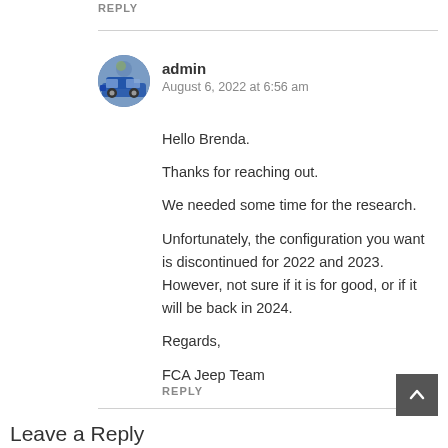REPLY
[Figure (photo): Circular avatar photo of a blue truck outdoors]
admin
August 6, 2022 at 6:56 am
Hello Brenda.

Thanks for reaching out.

We needed some time for the research.

Unfortunately, the configuration you want is discontinued for 2022 and 2023. However, not sure if it is for good, or if it will be back in 2024.

Regards,

FCA Jeep Team
REPLY
Leave a Reply